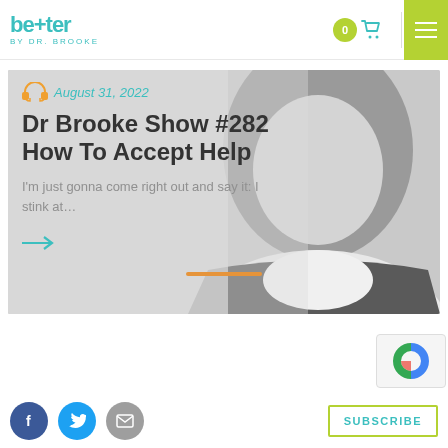better BY DR. BROOKE
Dr Brooke Show #282 How To Accept Help
August 31, 2022
I'm just gonna come right out and say it: I stink at…
[Figure (photo): Woman smiling, used as background hero image for blog post]
SUBSCRIBE